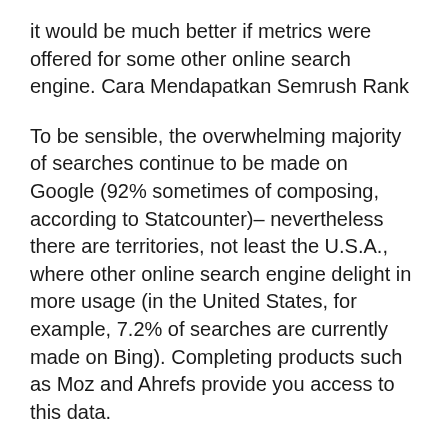it would be much better if metrics were offered for some other online search engine. Cara Mendapatkan Semrush Rank
To be sensible, the overwhelming majority of searches continue to be made on Google (92% sometimes of composing, according to Statcounter)– nevertheless there are territories, not least the U.S.A., where other online search engine delight in more usage (in the United States, for example, 7.2% of searches are currently made on Bing). Completing products such as Moz and Ahrefs provide you access to this data.
Second, it would be great to get a sign from SEMrush relating to the number of backlinks you'll need to rank for a particular